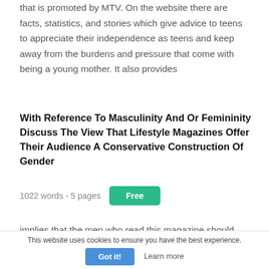that is promoted by MTV. On the website there are facts, statistics, and stories which give advice to teens to appreciate their independence as teens and keep away from the burdens and pressure that come with being a young mother. It also provides
With Reference To Masculinity And Or Femininity Discuss The View That Lifestyle Magazines Offer Their Audience A Conservative Construction Of Gender
1022 words - 5 pages
implies that the men who read this magazine should
This website uses cookies to ensure you have the best experience.
Got it!
Learn more